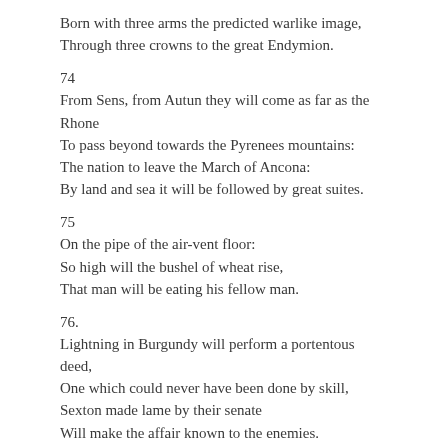Born with three arms the predicted warlike image,
Through three crowns to the great Endymion.
74
From Sens, from Autun they will come as far as the Rhone
To pass beyond towards the Pyrenees mountains:
The nation to leave the March of Ancona:
By land and sea it will be followed by great suites.
75
On the pipe of the air-vent floor:
So high will the bushel of wheat rise,
That man will be eating his fellow man.
76.
Lightning in Burgundy will perform a portentous deed,
One which could never have been done by skill,
Sexton made lame by their senate
Will make the affair known to the enemies.
77
Hurled back through bows, fires, pitch and by fires:
Cries, howls heard at midnight:
Within the camps and by the shore